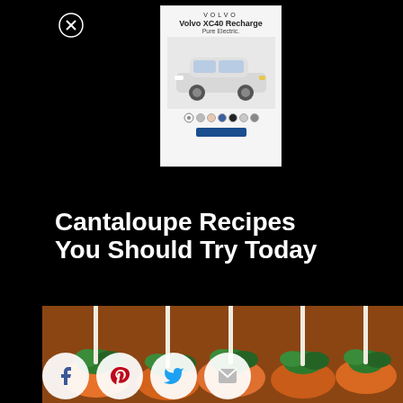[Figure (screenshot): Volvo XC40 Recharge advertisement showing car, color swatches, and call-to-action button]
Cantaloupe Recipes You Should Try Today
[Figure (photo): Close-up photo of cantaloupe appetizers with skewers and green herb garnish on orange/red cantaloupe pieces]
[Figure (infographic): Social share buttons: Facebook, Pinterest, Twitter, Email]